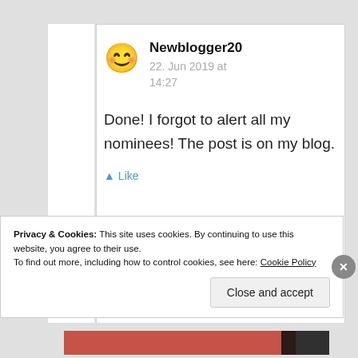Newblogger20
22. Jun 2019 at 14:27
Done! I forgot to alert all my nominees! The post is on my blog.
Privacy & Cookies: This site uses cookies. By continuing to use this website, you agree to their use.
To find out more, including how to control cookies, see here: Cookie Policy
Close and accept